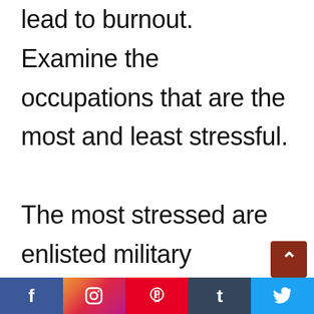a natural part of life, it can also lead to burnout. Examine the occupations that are the most and least stressful.

The most stressed are enlisted military members and those working in the emergency services industry. Not all forms of stress are harmful. Health,
[Figure (other): Social media share buttons bar at the bottom: Facebook, Instagram, Pinterest, Tumblr, Twitter icons]